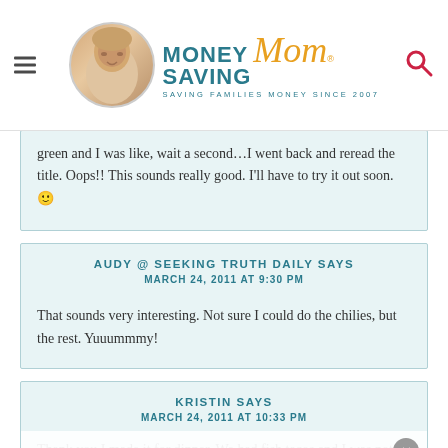Money Saving Mom — Saving Families Money Since 2007
green and I was like, wait a second…I went back and reread the title. Oops!! This sounds really good. I'll have to try it out soon. 🙂
AUDY @ SEEKING TRUTH DAILY SAYS
MARCH 24, 2011 AT 9:30 PM

That sounds very interesting. Not sure I could do the chilies, but the rest. Yuuummmy!
KRISTIN SAYS
MARCH 24, 2011 AT 10:33 PM

Thank you I made it for dinner. We had fish tacos and I was not…